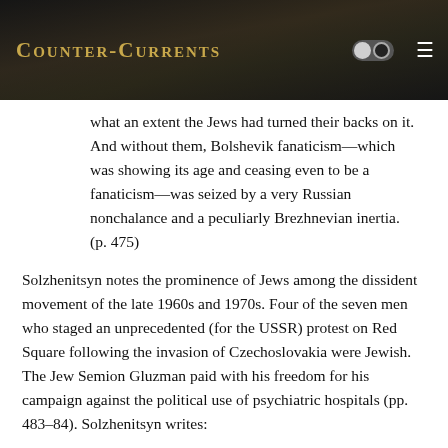Counter-Currents
what an extent the Jews had turned their backs on it. And without them, Bolshevik fanaticism—which was showing its age and ceasing even to be a fanaticism—was seized by a very Russian nonchalance and a peculiarly Brezhnevian inertia. (p. 475)
Solzhenitsyn notes the prominence of Jews among the dissident movement of the late 1960s and 1970s. Four of the seven men who staged an unprecedented (for the USSR) protest on Red Square following the invasion of Czechoslovakia were Jewish. The Jew Semion Gluzman paid with his freedom for his campaign against the political use of psychiatric hospitals (pp. 483–84). Solzhenitsyn writes:
In this wasted country, still subject to repression, the Russian Social Fund to which I turned over all world